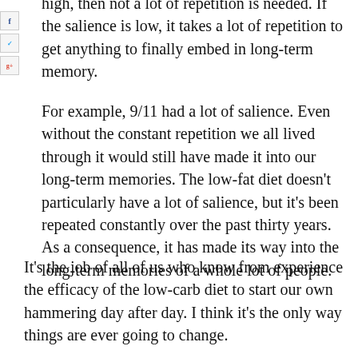high, then not a lot of repetition is needed. If the salience is low, it takes a lot of repetition to get anything to finally embed in long-term memory.
For example, 9/11 had a lot of salience. Even without the constant repetition we all lived through it would still have made it into our long-term memories. The low-fat diet doesn't particularly have a lot of salience, but it's been repeated constantly over the past thirty years. As a consequence, it has made its way into the long-term memories of a whole lot of people.
It's the job of all of us who know from experience the efficacy of the low-carb diet to start our own hammering day after day. I think it's the only way things are ever going to change.